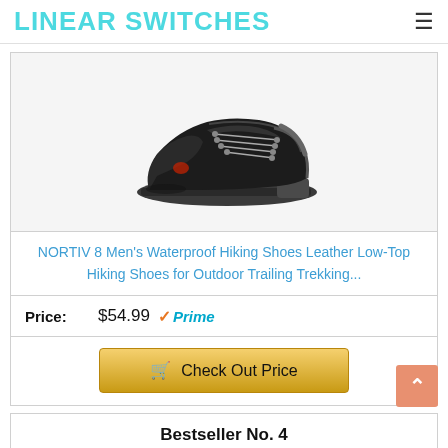LINEAR SWITCHES
[Figure (photo): Black low-top hiking shoe, angled side view on white/grey background]
NORTIV 8 Men's Waterproof Hiking Shoes Leather Low-Top Hiking Shoes for Outdoor Trailing Trekking...
Price: $54.99 Prime
Check Out Price
Bestseller No. 4